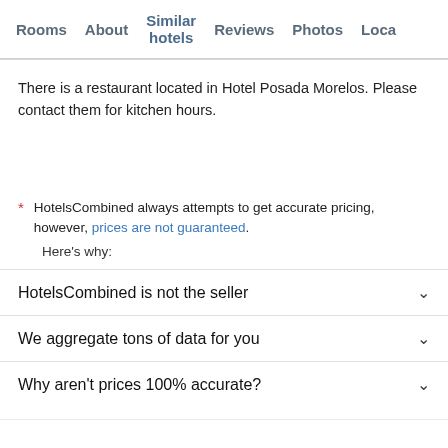Rooms  About  Similar hotels  Reviews  Photos  Loca…
There is a restaurant located in Hotel Posada Morelos. Please contact them for kitchen hours.
* HotelsCombined always attempts to get accurate pricing, however, prices are not guaranteed.
Here's why:
HotelsCombined is not the seller
We aggregate tons of data for you
Why aren't prices 100% accurate?